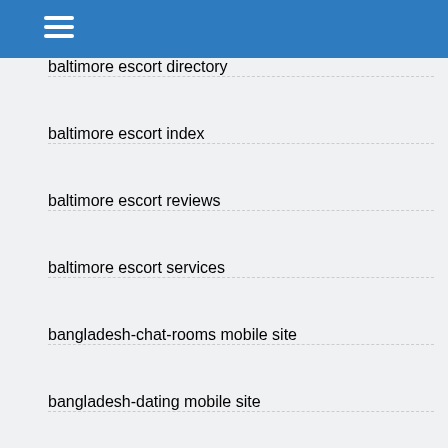baltimore escort directory
baltimore escort index
baltimore escort reviews
baltimore escort services
bangladesh-chat-rooms mobile site
bangladesh-dating mobile site
Baptist Dating local